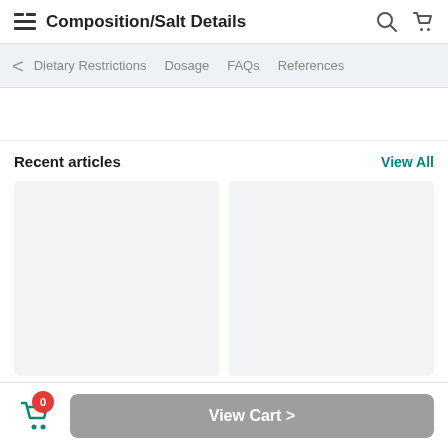Composition/Salt Details
Dietary Restrictions  Dosage  FAQs  References
Recent articles
View All
View Cart >